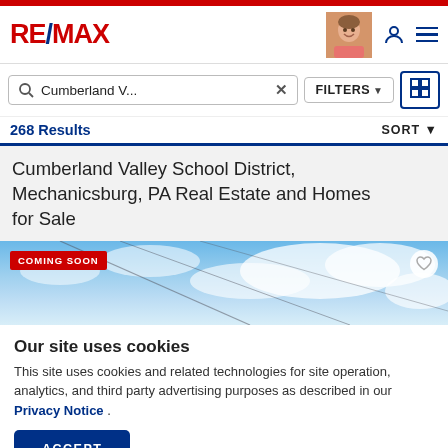RE/MAX
Cumberland V... X   FILTERS   [map icon]
268 Results   SORT
Cumberland Valley School District, Mechanicsburg, PA Real Estate and Homes for Sale
[Figure (photo): Aerial or landscape photo of a property with blue sky and clouds, labeled COMING SOON]
Our site uses cookies
This site uses cookies and related technologies for site operation, analytics, and third party advertising purposes as described in our Privacy Notice .
ACCEPT